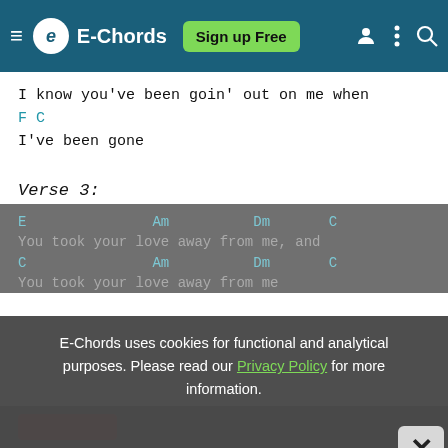E-Chords | Sign up Free
I know you've been goin' out on me when
F          C
I've been gone
Verse 3:
E-Chords uses cookies for functional and analytical purposes. Please read our Privacy Policy for more information.